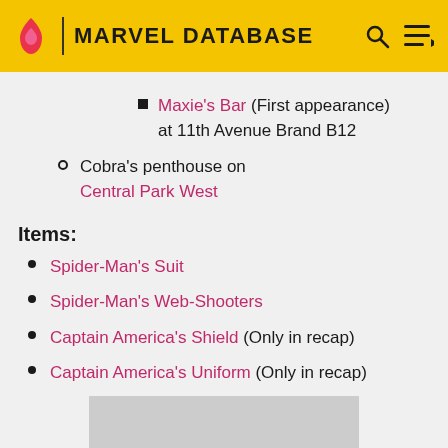MARVEL DATABASE
Maxie's Bar (First appearance) at 11th Avenue Brand B12
Cobra's penthouse on Central Park West
Items:
Spider-Man's Suit
Spider-Man's Web-Shooters
Captain America's Shield (Only in recap)
Captain America's Uniform (Only in recap)
[Figure (other): Gray advertisement placeholder box]